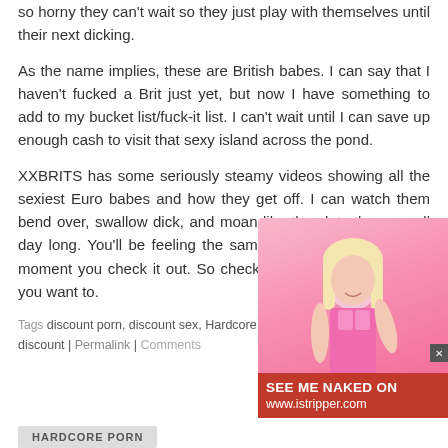so horny they can't wait so they just play with themselves until their next dicking.
As the name implies, these are British babes. I can say that I haven't fucked a Brit just yet, but now I have something to add to my bucket list/fuck-it list. I can't wait until I can save up enough cash to visit that sexy island across the pond.
XXBRITS has some seriously steamy videos showing all the sexiest Euro babes and how they get off. I can watch them bend over, swallow dick, and moan like the sluts they are all day long. You'll be feeling the same way about this site the moment you check it out. So check it out already! You know you want to.
Tags discount porn, discount sex, Hardcore Porn, Hardcore Sex, porn discount | Permalink | Comments
[Figure (photo): Blonde woman in pink lingerie with advertisement overlay for istripper.com reading SEE ME NAKED ON www.istripper.com]
HARDCORE PORN